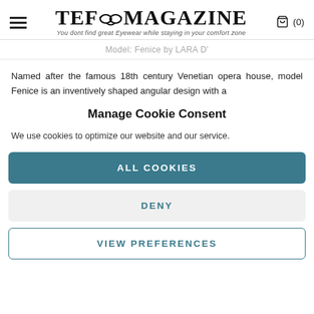TEFO MAGAZINE — You dont find great Eyewear while staying in your comfort zone — (0)
Model: Fenice by LARA D'
Named after the famous 18th century Venetian opera house, model Fenice is an inventively shaped angular design with a
Manage Cookie Consent
We use cookies to optimize our website and our service.
ALL COOKIES
DENY
VIEW PREFERENCES